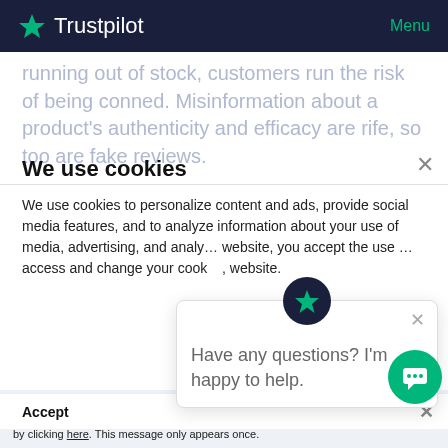Trustpilot   Menu
running out of stock, customers run the risk of being conned. Misinformation about a product's authenticity and efficacy are rife, so too are fake reviews.
We use cookies
We use cookies to personalize content and ads, provide social media features, and to analyze information about your use of media, advertising, and analytics website, you accept the use access and change your cookie website.
Have any questions? I'm happy to help.
Accept
Your browser settings do not allow cross-site tracking for advertising. Click on this AdRoll to use cross-site tracking to tailor ads to you. Learn more or opt out of this A by clicking here. This message only appears once.